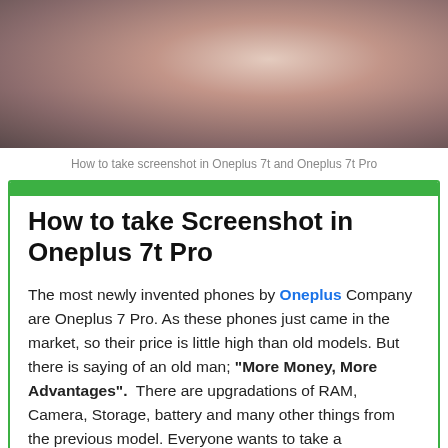[Figure (photo): Photo of a OnePlus phone being held, partially visible, with a colorful screen, cropped at the top of the page.]
How to take screenshot in Oneplus 7t and Oneplus 7t Pro
How to take Screenshot in Oneplus 7t Pro
The most newly invented phones by Oneplus Company are Oneplus 7 Pro. As these phones just came in the market, so their price is little high than old models. But there is saying of an old man; "More Money, More Advantages". There are upgradations of RAM, Camera, Storage, battery and many other things from the previous model. Everyone wants to take a screenshot in his/her phone for memories or